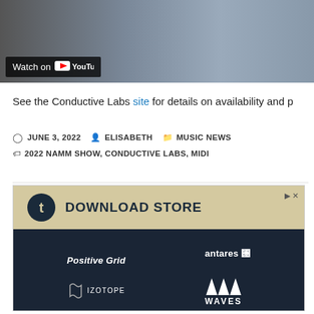[Figure (screenshot): YouTube video thumbnail showing a workspace/lab scene with 'Watch on YouTube' overlay button]
See the Conductive Labs site for details on availability and p
JUNE 3, 2022   ELISABETH   MUSIC NEWS   2022 NAMM SHOW, CONDUCTIVE LABS, MIDI
[Figure (screenshot): Advertisement for a Download Store featuring brands: Positive Grid, antares, iZotope, WAVES on a dark background with khaki header]